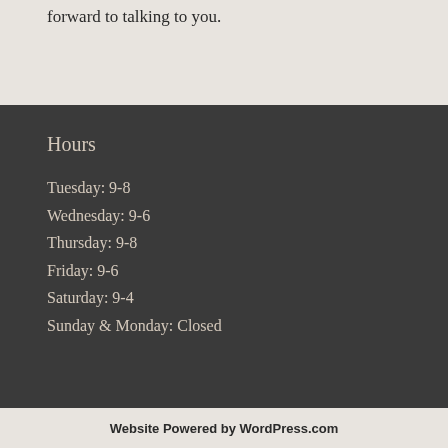forward to talking to you.
Hours
Tuesday: 9-8
Wednesday: 9-6
Thursday: 9-8
Friday: 9-6
Saturday: 9-4
Sunday & Monday: Closed
Website Powered by WordPress.com